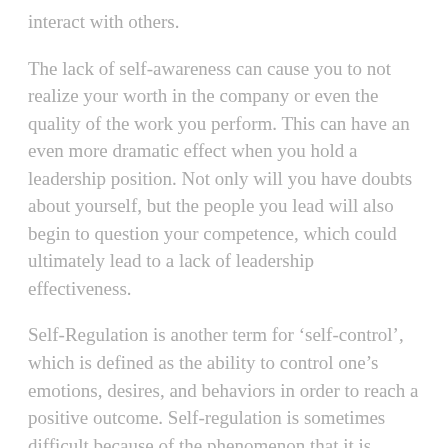interact with others.
The lack of self-awareness can cause you to not realize your worth in the company or even the quality of the work you perform. This can have an even more dramatic effect when you hold a leadership position. Not only will you have doubts about yourself, but the people you lead will also begin to question your competence, which could ultimately lead to a lack of leadership effectiveness.
Self-Regulation is another term for ‘self-control’, which is defined as the ability to control one’s emotions, desires, and behaviors in order to reach a positive outcome. Self-regulation is sometimes difficult because of the phenomenon that it is important to ‘express how you feel’. While this may be partially true, the art to finding the balance between expressing one’s feelings